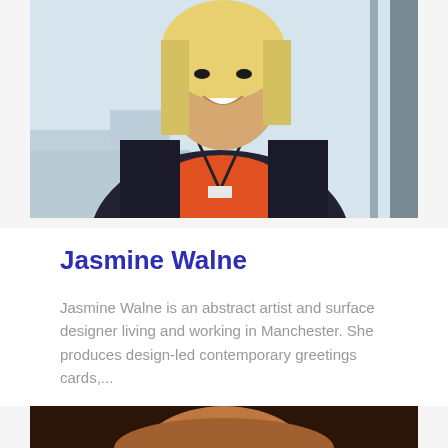[Figure (photo): Portrait photo of Jasmine Walne, a smiling blonde woman wearing a dark jacket over an orange top with a lanyard, standing near a window with a city view in the background.]
Jasmine Walne
Jasmine Walne is an abstract artist and surface designer living and working in Manchester. She produces design-led contemporary greetings cards,...
[Figure (photo): Partial portrait photo showing the top of a person's head with reddish-brown hair, cropped at the bottom of the page.]